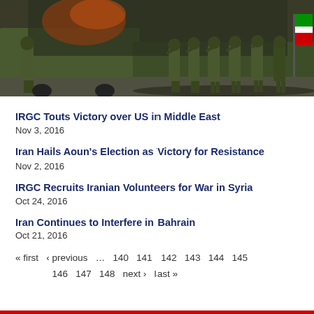[Figure (photo): Military personnel in camouflage uniforms standing in formation, saluting, with a dark background.]
IRGC Touts Victory over US in Middle East
Nov 3, 2016
Iran Hails Aoun's Election as Victory for Resistance
Nov 2, 2016
IRGC Recruits Iranian Volunteers for War in Syria
Oct 24, 2016
Iran Continues to Interfere in Bahrain
Oct 21, 2016
« first  ‹ previous  …  140  141  142  143  144  145  146  147  148  next ›  last »